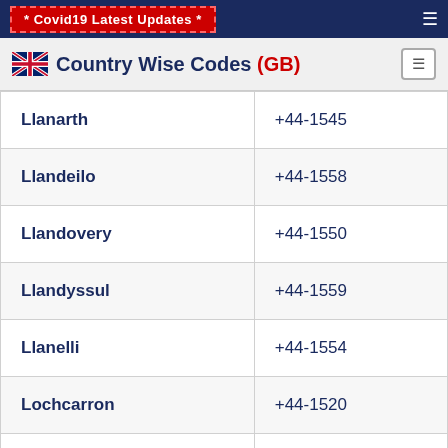* Covid19 Latest Updates *
Country Wise Codes (GB)
| City | Code |
| --- | --- |
| Llanarth | +44-1545 |
| Llandeilo | +44-1558 |
| Llandovery | +44-1550 |
| Llandyssul | +44-1559 |
| Llanelli | +44-1554 |
| Lochcarron | +44-1520 |
| Lochgilphead | +44-1546 |